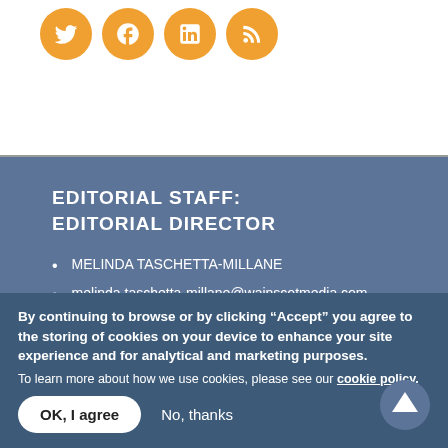[Figure (illustration): Four circular orange social media share/bookmark icons in a row at the top of the page]
EDITORIAL STAFF:
EDITORIAL DIRECTOR
MELINDA TASCHETTA-MILLANE
melinda.taschetta-millane@wainscotmedia.com
P: 630-482-9932
MANAGING EDITOR
By continuing to browse or by clicking “Accept” you agree to the storing of cookies on your device to enhance your site experience and for analytical and marketing purposes.
To learn more about how we use cookies, please see our cookie policy.
OK, I agree | No, thanks